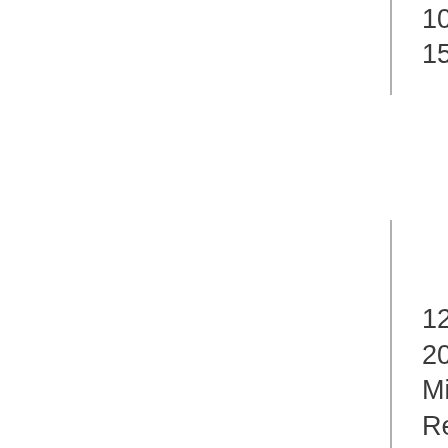1024MB, 1520GFLOPS)
12/01/2010 20:07:10 Milkyway@home Requesting new tasks 12/01/2010 20:07:21 Milkyway@home Scheduler request completed: got 0 new tasks 12/01/2010 20:07:21 Milkyway@home Message from server: No work sent 12/01/2010 20:07:21